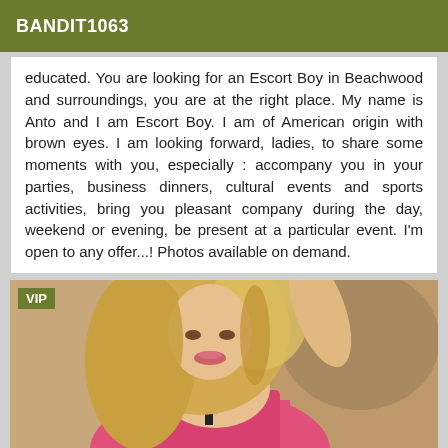BANDIT1063
educated. You are looking for an Escort Boy in Beachwood and surroundings, you are at the right place. My name is Anto and I am Escort Boy. I am of American origin with brown eyes. I am looking forward, ladies, to share some moments with you, especially : accompany you in your parties, business dinners, cultural events and sports activities, bring you pleasant company during the day, weekend or evening, be present at a particular event. I'm open to any offer...! Photos available on demand.
[Figure (photo): Photo of a blonde woman wearing a pink top, with a VIP badge overlay in the top-left corner]